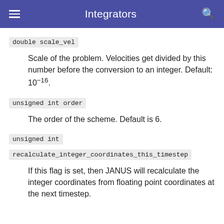Integrators
double scale_vel
Scale of the problem. Velocities get divided by this number before the conversion to an integer. Default: 10^-16.
unsigned int order
The order of the scheme. Default is 6.
unsigned int recalculate_integer_coordinates_this_timestep
If this flag is set, then JANUS will recalculate the integer coordinates from floating point coordinates at the next timestep.